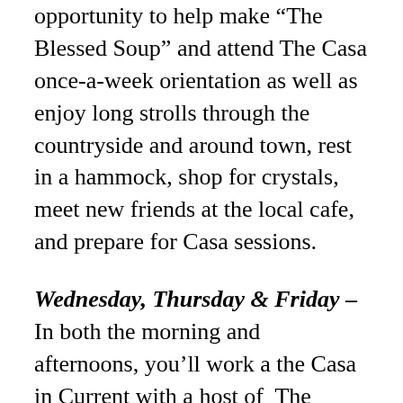opportunity to help make “The Blessed Soup” and attend The Casa once-a-week orientation as well as enjoy long strolls through the countryside and around town, rest in a hammock, shop for crystals, meet new friends at the local cafe, and prepare for Casa sessions.
Wednesday, Thursday & Friday – In both the morning and afternoons, you’ll work a the Casa in Current with a host of The Beloved Entities of Light. This is your opportunity to ask for help and present your requests. After the morning session, we’ll enjoy Blessed Soup (infused with blessings by the